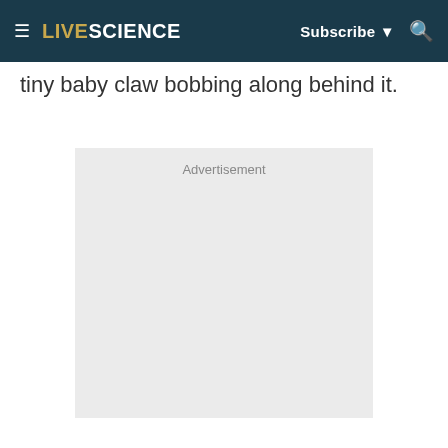LIVESCIENCE | Subscribe | Search
tiny baby claw bobbing along behind it.
[Figure (other): Advertisement placeholder box with light grey background and 'Advertisement' label text centered at top]